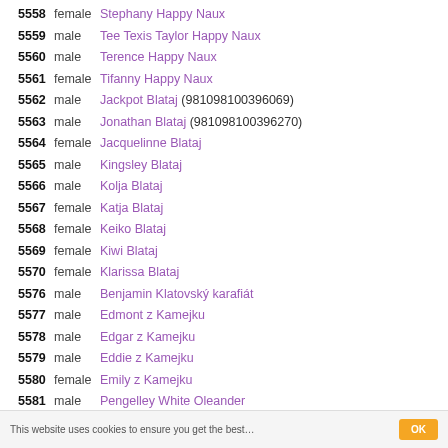5558 female Stephany Happy Naux
5559 male Tee Texis Taylor Happy Naux
5560 male Terence Happy Naux
5561 female Tifanny Happy Naux
5562 male Jackpot Blataj (981098100396069)
5563 male Jonathan Blataj (981098100396270)
5564 female Jacquelinne Blataj
5565 male Kingsley Blataj
5566 male Kolja Blataj
5567 female Katja Blataj
5568 female Keiko Blataj
5569 female Kiwi Blataj
5570 female Klarissa Blataj
5576 male Benjamin Klatovský karafiát
5577 male Edmont z Kamejku
5578 male Edgar z Kamejku
5579 male Eddie z Kamejku
5580 female Emily z Kamejku
5581 male Pengelley White Oleander
5582 male Percywall White Oleander
5583 male Peregrine White Oleander
5584 female Pearlie White Oleander
5585 female Chira Magnolie z Radslavic
This website uses cookies to ensure you get the best…